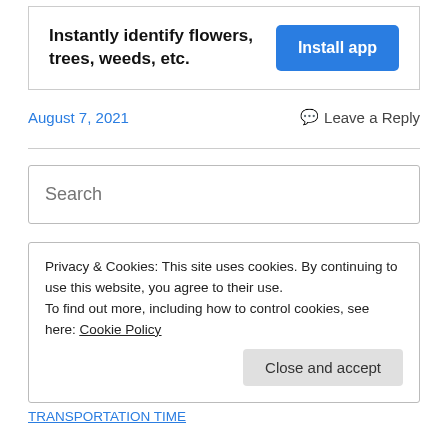[Figure (other): Advertisement box: 'Instantly identify flowers, trees, weeds, etc.' with an 'Install app' blue button]
August 7, 2021
Leave a Reply
Search
Privacy & Cookies: This site uses cookies. By continuing to use this website, you agree to their use.
To find out more, including how to control cookies, see here: Cookie Policy
Close and accept
TRANSPORTATION TIME